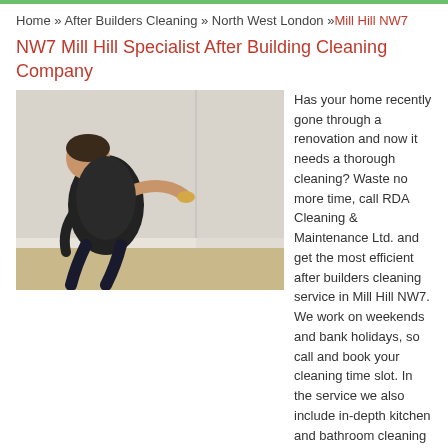Home » After Builders Cleaning » North West London »Mill Hill NW7
NW7 Mill Hill Specialist After Building Cleaning Company
[Figure (photo): A person in a black shirt cleaning a wall in a corner room, crouching down while scrubbing.]
Has your home recently gone through a renovation and now it needs a thorough cleaning? Waste no more time, call RDA Cleaning & Maintenance Ltd. and get the most efficient after builders cleaning service in Mill Hill NW7. We work on weekends and bank holidays, so call and book your cleaning time slot. In the service we also include in-depth kitchen and bathroom cleaning with attention to small details like light switch cleaning, inside and outside window cleaning and so much more. We will give you: